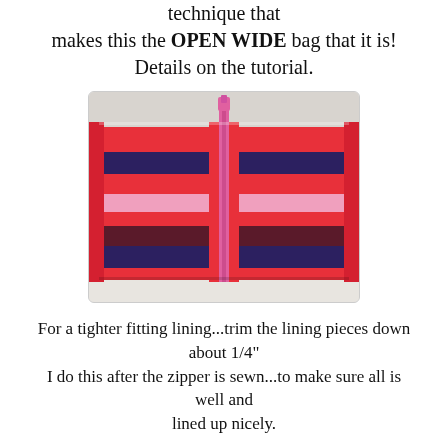technique that makes this the OPEN WIDE bag that it is! Details on the tutorial.
[Figure (photo): An open-wide zippered bag laid flat and open, showing a patchwork lining with red, dark purple/navy, and pink fabric strips arranged symmetrically on both sides of a pink/magenta zipper running vertically down the center.]
For a tighter fitting lining...trim the lining pieces down about 1/4"
I do this after the zipper is sewn...to make sure all is well and
lined up nicely.